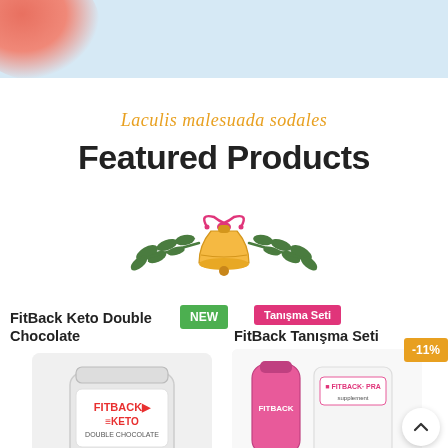[Figure (photo): Top banner image with light blue background and a red/coral abstract blob shape in the top-left corner]
Laculis malesuada sodales
Featured Products
[Figure (illustration): Decorative Christmas bell with red bow and green leaves illustration]
[Figure (photo): FitBack Keto Double Chocolate protein powder jar product image with NEW badge]
FitBack Keto Double Chocolate
[Figure (photo): FitBack Tanişma Seti product image showing a pink shaker bottle and white supplement bag, with Tanişma Seti and -11% badges]